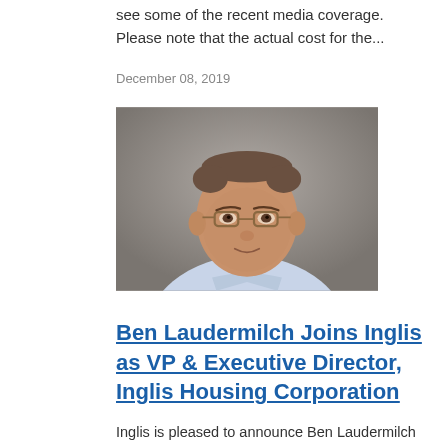see some of the recent media coverage. Please note that the actual cost for the...
December 08, 2019
[Figure (photo): Professional headshot of Ben Laudermilch, a middle-aged man with glasses, short hair, wearing a light blue shirt, against a grey background.]
Ben Laudermilch Joins Inglis as VP & Executive Director, Inglis Housing Corporation
Inglis is pleased to announce Ben Laudermilch has joined Inglis as its new Vice President/Executive Director of Inglis Housing Corporation (IHC)....